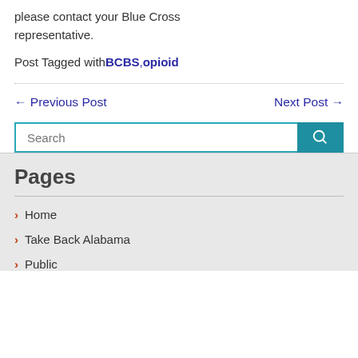please contact your Blue Cross representative.
Post Tagged with BCBS, opioid
← Previous Post    Next Post →
Home
Take Back Alabama
Public